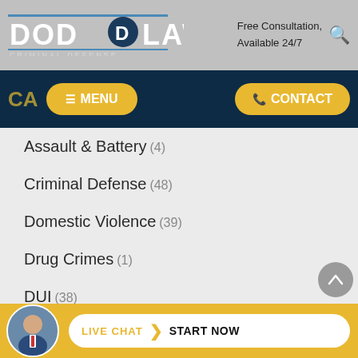[Figure (logo): Dodd Law Criminal Defense logo with circular D emblem and search icon, plus Free Consultation Available 24/7 text]
[Figure (screenshot): Navigation bar with MENU and CONTACT buttons in yellow/gold on dark navy background, with CA text partially visible]
Assault & Battery (4)
Criminal Defense (48)
Domestic Violence (39)
Drug Crimes (1)
DUI (38)
Felony Convictions (3)
Juvenile Crimes (3)
News (4)
[Figure (infographic): Live Chat Start Now button bar at bottom with attorney avatar photo, on gold background]